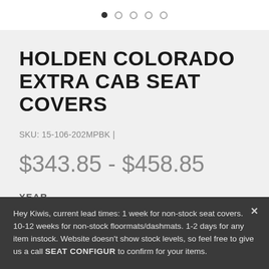[Figure (other): Carousel navigation dots — one filled dark dot and four empty circle dots]
HOLDEN COLORADO EXTRA CAB SEAT COVERS
SKU: 15-106-202MPBK |
$343.85 - $458.85
YEAR
Hey Kiwis, current lead times: 1 week for non-stock seat covers. 10-12 weeks for non-stock floormats/dashmats. 1-2 days for any item instock. Website doesn't show stock levels, so feel free to give us a call SEAT CONFIGUR to confirm for your items.